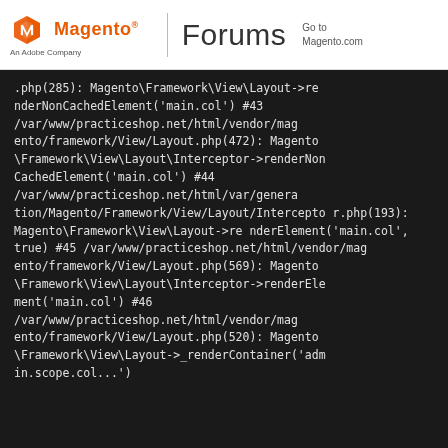Magento Forums — Go to Magento.com
#php(285): Magento\Framework\View\Layout->renderNonCachedElement('main.col')
#43 /var/www/practiceshop.net/html/vendor/magento/framework/View/Layout.php(472): Magento\Framework\View\Layout\Interceptor->renderNonCachedElement('main.col')
#44 /var/www/practiceshop.net/html/var/generation/Magento/Framework/View/Layout/Interceptor.php(193): Magento\Framework\View\Layout->renderElement('main.col', true)
#45 /var/www/practiceshop.net/html/vendor/magento/framework/View/Layout.php(569): Magento\Framework\View\Layout\Interceptor->renderElement('main.col')
#46 /var/www/practiceshop.net/html/vendor/magento/framework/View/Layout.php(520): Magento\Framework\View\Layout->_renderContainer('admin.scope.col...')